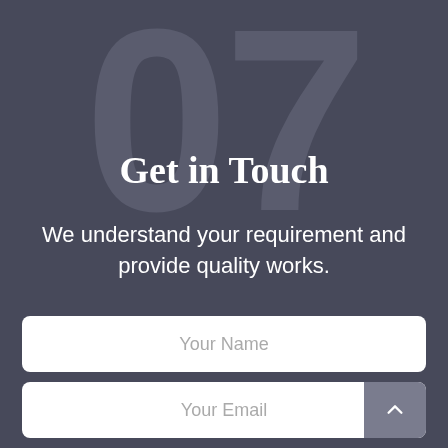07
Get in Touch
We understand your requirement and provide quality works.
[Figure (other): Contact form with Your Name field, Your Email field with scroll-to-top arrow button, and a third form field partially visible at bottom]